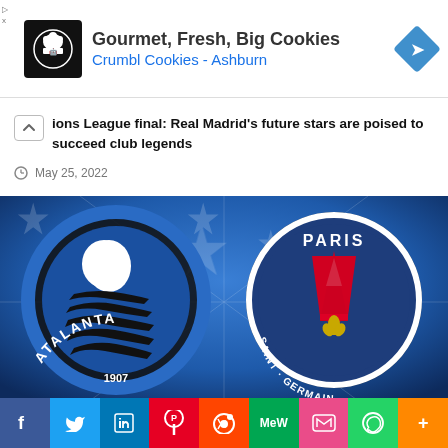[Figure (other): Advertisement banner for Crumbl Cookies - Ashburn with logo, headline 'Gourmet, Fresh, Big Cookies', subline 'Crumbl Cookies - Ashburn', and a blue diamond navigation icon]
ions League final: Real Madrid's future stars are poised to succeed club legends
May 25, 2022
[Figure (photo): UEFA Champions League background (blue star burst) with Atalanta FC badge on the left and Paris Saint-Germain (PSG) badge on the right]
[Figure (infographic): Social media sharing bar with buttons for Facebook, Twitter, LinkedIn, Pinterest, Reddit, MeWe, Mix, WhatsApp, and More]